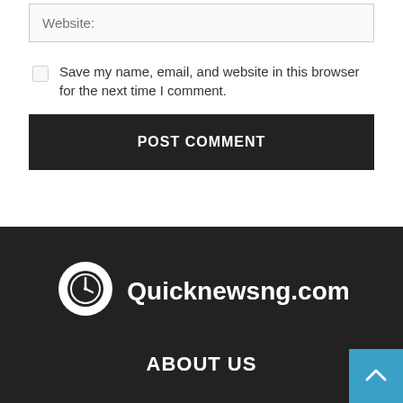Website: (input field placeholder)
Save my name, email, and website in this browser for the next time I comment.
POST COMMENT
[Figure (logo): Quicknewsng.com logo: white speech-bubble Q with clock icon on dark background, with bold white text 'Quicknewsng.com']
ABOUT US